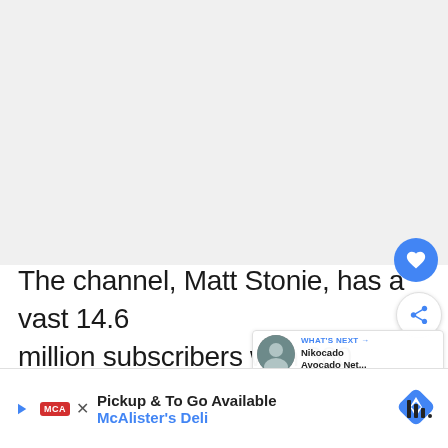[Figure (other): Light gray video placeholder rectangle at top of page]
The channel, Matt Stonie, has a vast 14.6 million subscribers with 380 uploads. In addition, the uploaded videos have an aggregate of around 2.89 billion views, and according to the social blade, the contents get ... day.
[Figure (other): Advertisement banner: Pickup & To Go Available McAlister's Deli with red MCA logo, blue diamond arrow icon, and wifi symbol]
[Figure (other): WHAT'S NEXT overlay with profile thumbnail: Nikocado Avocado Net...]